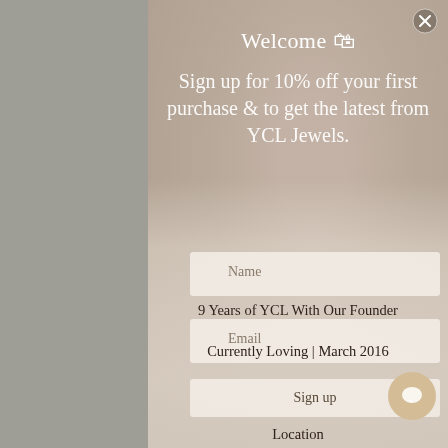[Figure (screenshot): Popup modal overlay on a jewelry website (YCL Jewels) showing a sign-up form with photo background of a person, gray sidebars, and a chat bubble. The modal contains welcome text, promotional copy, Name input, Email input, Sign up button, Location label, and an Australia & New Zealand link.]
Welcome 🛍
Sign up for 10% off your first purchase & to get the latest from YCL Jewels.
Name
9 Years of YCL With Our Founder
Email
Currently Loving | March 2016
Sign up
Location
Australia & New Zealand